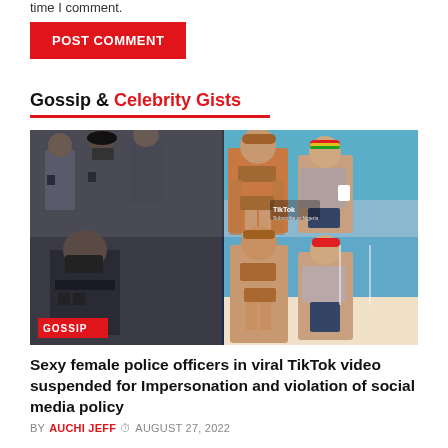time I comment.
POST COMMENT
Gossip & Celebrity Gists
[Figure (photo): Collage of four images: two showing female police officers in uniform standing in formation or posing, and two showing women in bikinis on a beach, one image bearing a TikTok watermark. A red GOSSIP label is overlaid at the bottom left.]
Sexy female police officers in viral TikTok video suspended for Impersonation and violation of social media policy
BY AUCHI JEFF  AUGUST 27, 2022